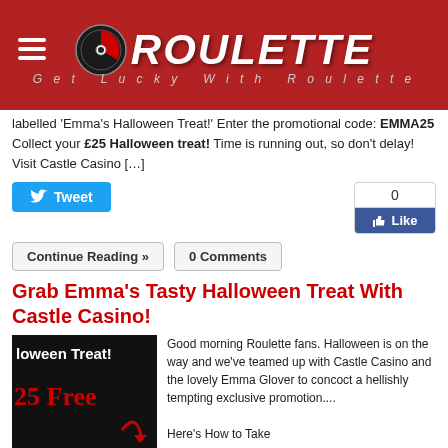ROULETTE — Get Lucky With Roulette
labelled 'Emma's Halloween Treat!' Enter the promotional code: EMMA25 Collect your £25 Halloween treat! Time is running out, so don't delay! Visit Castle Casino […]
[Figure (screenshot): Tweet button and Facebook Like widget with 0 likes]
Continue Reading » | 0 Comments
Grab Emma's Tasty Halloween Treat With Castle Casino!
[Figure (photo): Halloween Treat promotional image showing 'Halloween Treat!' and '25 Free' text on dark background]
Good morning Roulette fans. Halloween is on the way and we've teamed up with Castle Casino and the lovely Emma Glover to concoct a hellishly tempting exclusive promotion.... Here's How to Take